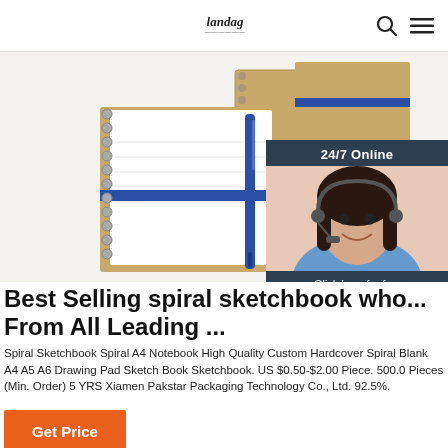Fandag [logo] | search icon | menu icon
[Figure (photo): Product photo showing spiral sketchbooks/notebooks with kraft brown hardcover and blue spiral binding, along with a blue pen, displayed on white background. Overlaid with a 24/7 online customer service chat widget featuring a smiling female agent with a headset.]
Best Selling spiral sketchbook who... From All Leading ...
Spiral Sketchbook Spiral A4 Notebook High Quality Custom Hardcover Spiral Blank A4 A5 A6 Drawing Pad Sketch Book Sketchbook. US $0.50-$2.00 Piece. 500.0 Pieces (Min. Order) 5 YRS Xiamen Pakstar Packaging Technology Co., Ltd. 92.5%.
Get Price